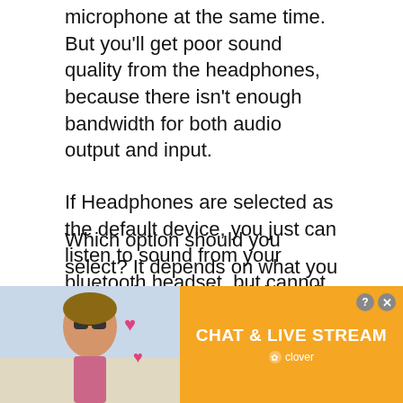microphone at the same time. But you'll get poor sound quality from the headphones, because there isn't enough bandwidth for both audio output and input.
If Headphones are selected as the default device, you just can listen to sound from your bluetooth headset, but cannot speak via the integrated microphone. But you'll get high sound quality.
Which option should you select? It depends on what you prefer. If you prefer high quality sound, select the Headphones option.
Actually this is a Windows 10 s... issue... sou...
[Figure (other): Advertisement overlay: orange banner with a woman in sunglasses photo on left, and 'CHAT & LIVE STREAM' text on right with Clover logo. Close X button in top right corner.]